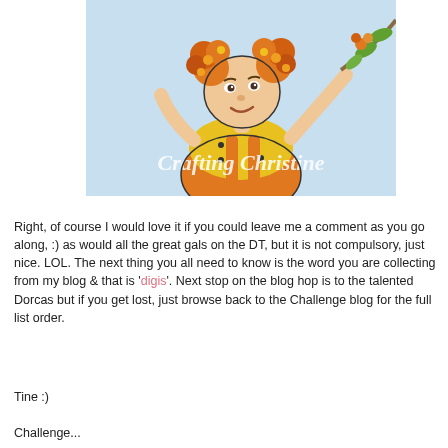[Figure (illustration): Illustration of a smiling young girl with orange flower hair decorations, wearing a yellow top and orange overalls, holding a branch with orange flowers. Watermark text 'Crafting Christine' overlaid in white cursive font.]
Right, of course I would love it if you could leave me a comment as you go along, :) as would all the great gals on the DT, but it is not compulsory, just nice. LOL. The next thing you all need to know is the word you are collecting from my blog & that is 'digis'. Next stop on the blog hop is to the talented Dorcas but if you get lost, just browse back to the Challenge blog for the full list order.
Tine :)
Challenge...